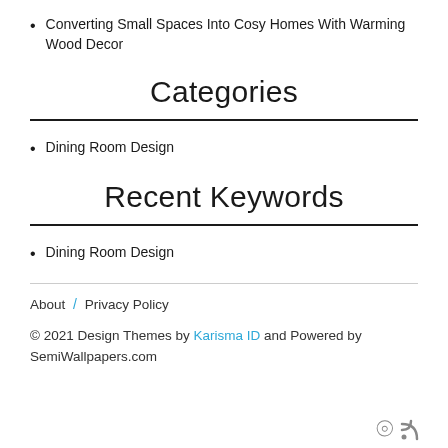Converting Small Spaces Into Cosy Homes With Warming Wood Decor
Categories
Dining Room Design
Recent Keywords
Dining Room Design
About / Privacy Policy
© 2021 Design Themes by Karisma ID and Powered by SemiWallpapers.com